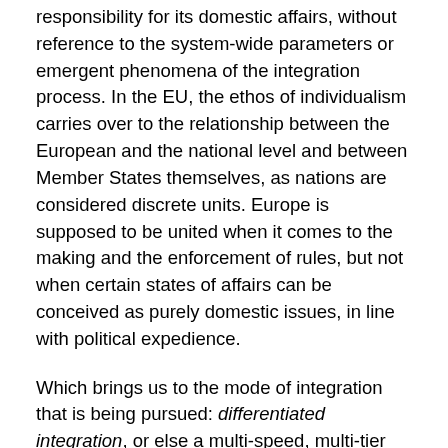responsibility for its domestic affairs, without reference to the system-wide parameters or emergent phenomena of the integration process. In the EU, the ethos of individualism carries over to the relationship between the European and the national level and between Member States themselves, as nations are considered discrete units. Europe is supposed to be united when it comes to the making and the enforcement of rules, but not when certain states of affairs can be conceived as purely domestic issues, in line with political expedience.
Which brings us to the mode of integration that is being pursued: differentiated integration, or else a multi-speed, multi-tier Europe. Again, this is not something new. It can be traced back to the early days of the project. At its core, differentiated integration rests on the premise that Europe is a platform where individual nation states are free to associate with each other. The form of the association may vary, depending on the prevailing circumstances, the